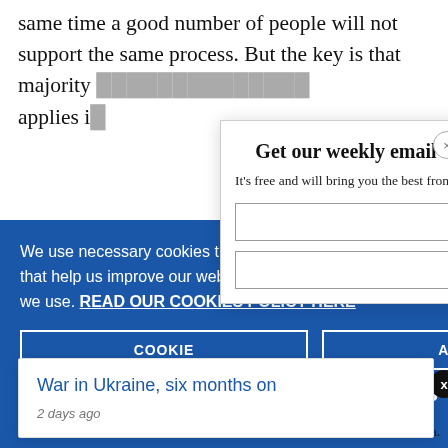same time a good number of people will not support the same process. But the key is that majority ... applies in...
[Figure (screenshot): Modal popup with title 'Get our weekly email', subtitle 'It's free and will bring you the best from', with a close (x) button in top-right corner and input fields.]
[Figure (screenshot): Blue cookie consent banner reading: 'We use necessary cookies that allow our site to work. We also set optional cookies that help us improve our website. For more information about the types of cookies we use. READ OUR COOKIES POLICY HERE' with 'COOKIE' and 'ALLOW' buttons.]
[Figure (screenshot): White tooltip popup: 'War in Ukraine, six months on' link in blue, with '2 days ago' below in grey italic.]
towering
data.